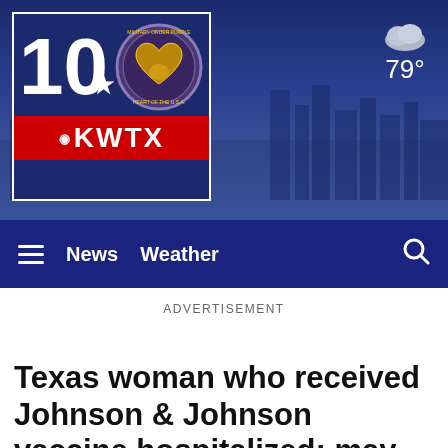[Figure (screenshot): KWTX CBS 10 news website header with logo, Military Order of the Purple Heart badge, weather showing 79°, navigation bar with hamburger menu, News and Weather links, and search icon]
ADVERTISEMENT
Texas woman who received Johnson & Johnson vaccine hospitalized; may have blood clots
[Figure (photo): Partial view of a dark photo at the bottom of the page, appears to show a medical or news-related image]